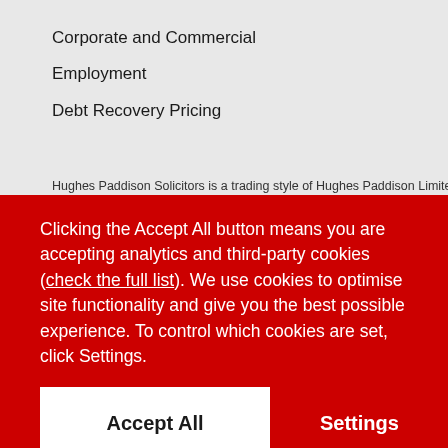Corporate and Commercial
Employment
Debt Recovery Pricing
Hughes Paddison Solicitors is a trading style of Hughes Paddison Limited
Clicking the Accept All button means you are accepting analytics and third-party cookies (check the full list). We use cookies to optimise site functionality and give you the best possible experience. To control which cookies are set, click Settings.
Accept All
Settings